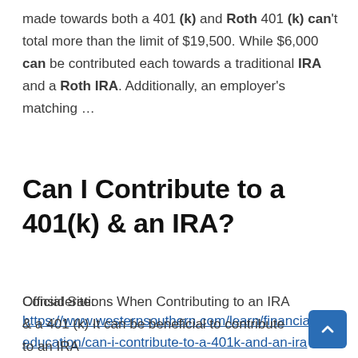made towards both a 401 (k) and Roth 401 (k) can't total more than the limit of $19,500. While $6,000 can be contributed each towards a traditional IRA and a Roth IRA. Additionally, an employer's matching …
Can I Contribute to a 401(k) & an IRA?
Official Site:
https://www.westernsouthern.com/learn/financial-education/can-i-contribute-to-a-401k-and-an-ira
Considerations When Contributing to an IRA & a 401 (k) It can be beneficial to contribute to an IRA